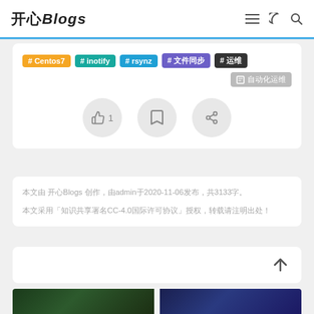开心Blogs
# Centos7  # inotify  # rsynz  # 文件同步  # 运维  自动化运维
[Figure (other): Three circular icon buttons: thumbs up with count 1, bookmark icon, share icon]
本文由 开心Blogs 创作，由admin于2020-11-06发布，共3133字。
本文采用「知识共享署名4.0国际许可协议」授权，转载请注明出处！
[Figure (other): Up arrow navigation icon]
[Figure (other): Down arrow navigation icon]
[Figure (photo): Two blurred thumbnail images at bottom of page]